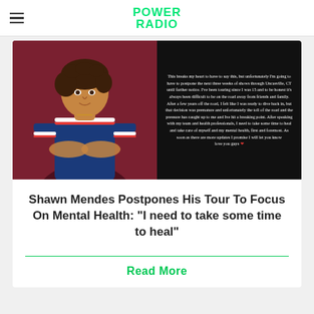POWER RADIO
[Figure (photo): Left half: photo of young man (Shawn Mendes) in navy blue striped polo shirt against dark red background. Right half: black background with white text statement reading: 'This breaks my heart to have to say this, but unfortunately I'm going to have to postpone the next three weeks of shows through Uncasville, CT until farther notice. I've been touring since I was 15 and to be honest it's always been difficult to be on the road away from friends and family. After a few years off the road, I felt like I was ready to dive back in, but that decision was premature and unfortunately the toll of the road and the pressure has caught up to me and I've hit a breaking point. After speaking with my team and health professionals, I need to take some time to heal and take care of myself and my mental health, first and foremost. As soon as there are more updates I promise I will let you know love you guys ❤']
Shawn Mendes Postpones His Tour To Focus On Mental Health: "I need to take some time to heal"
Read More